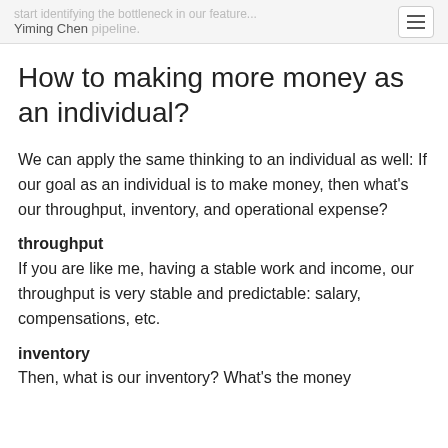start identifying the bottleneck in our feature... Yiming Chen pipeline.
How to making more money as an individual?
We can apply the same thinking to an individual as well: If our goal as an individual is to make money, then what's our throughput, inventory, and operational expense?
throughput
If you are like me, having a stable work and income, our throughput is very stable and predictable: salary, compensations, etc.
inventory
Then, what is our inventory? What's the money